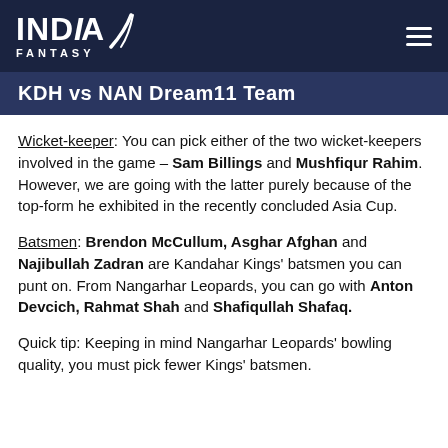INDIA FANTASY
KDH vs NAN Dream11 Team
Wicket-keeper: You can pick either of the two wicket-keepers involved in the game – Sam Billings and Mushfiqur Rahim. However, we are going with the latter purely because of the top-form he exhibited in the recently concluded Asia Cup.
Batsmen: Brendon McCullum, Asghar Afghan and Najibullah Zadran are Kandahar Kings' batsmen you can punt on. From Nangarhar Leopards, you can go with Anton Devcich, Rahmat Shah and Shafiqullah Shafaq.
Quick tip: Keeping in mind Nangarhar Leopards' bowling quality, you must pick fewer Kings' batsmen.